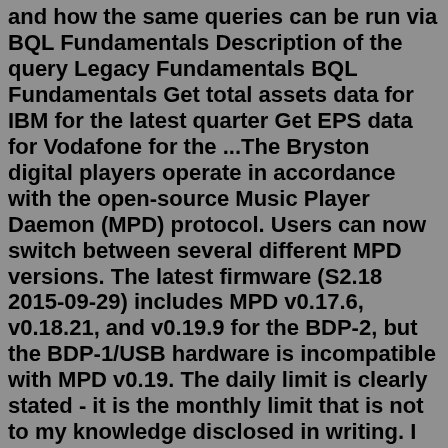and how the same queries can be run via BQL Fundamentals Description of the query Legacy Fundamentals BQL Fundamentals Get total assets data for IBM for the latest quarter Get EPS data for Vodafone for the ...The Bryston digital players operate in accordance with the open-source Music Player Daemon (MPD) protocol. Users can now switch between several different MPD versions. The latest firmware (S2.18 2015-09-29) includes MPD v0.17.6, v0.18.21, and v0.19.9 for the BDP-2, but the BDP-1/USB hardware is incompatible with MPD v0.19. The daily limit is clearly stated - it is the monthly limit that is not to my knowledge disclosed in writing. I have been told the following in the context of discussions about Data Licence, which is one Bloomberg product for bulk data subscription.OUR MISSION. Expedite OBC is a leader in providing immediate time critical logistics, worldwide through our vast network of over 600+ professional On Board Couriers (OBC). Our hand carry services operate 24/7 through our state-of-the-art Control Tower. Able